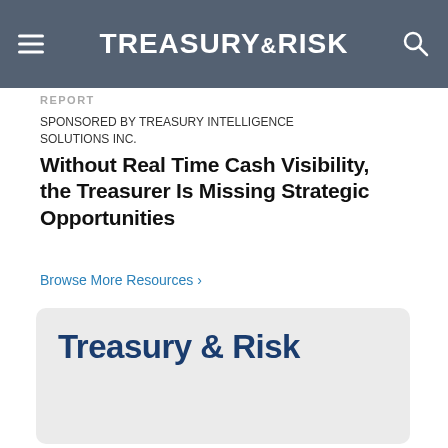TREASURY & RISK
REPORT
SPONSORED BY TREASURY INTELLIGENCE SOLUTIONS INC.
Without Real Time Cash Visibility, the Treasurer Is Missing Strategic Opportunities
Browse More Resources ›
[Figure (logo): Treasury & Risk logo on a light gray rounded card background]